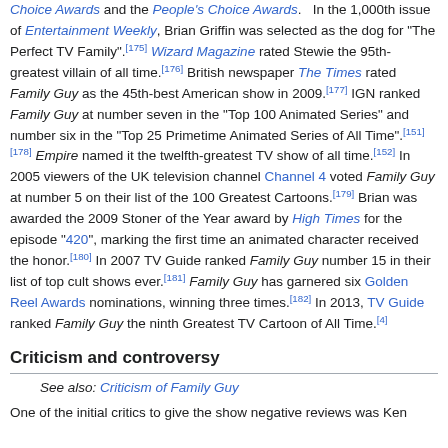Choice Awards and the People's Choice Awards. ... In the 1,000th issue of Entertainment Weekly, Brian Griffin was selected as the dog for "The Perfect TV Family".[175] Wizard Magazine rated Stewie the 95th-greatest villain of all time.[176] British newspaper The Times rated Family Guy as the 45th-best American show in 2009.[177] IGN ranked Family Guy at number seven in the "Top 100 Animated Series" and number six in the "Top 25 Primetime Animated Series of All Time".[151][178] Empire named it the twelfth-greatest TV show of all time.[152] In 2005 viewers of the UK television channel Channel 4 voted Family Guy at number 5 on their list of the 100 Greatest Cartoons.[179] Brian was awarded the 2009 Stoner of the Year award by High Times for the episode "420", marking the first time an animated character received the honor.[180] In 2007 TV Guide ranked Family Guy number 15 in their list of top cult shows ever.[181] Family Guy has garnered six Golden Reel Awards nominations, winning three times.[182] In 2013, TV Guide ranked Family Guy the ninth Greatest TV Cartoon of All Time.[4]
Criticism and controversy
See also: Criticism of Family Guy
One of the initial critics to give the show negative reviews was Ken...